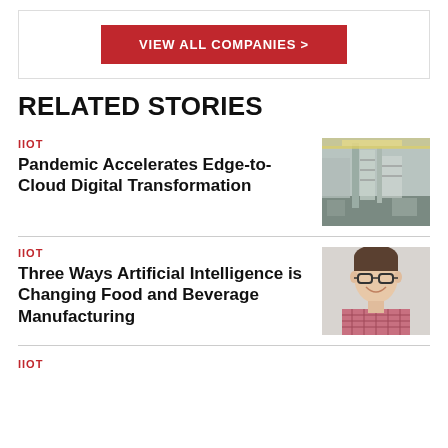VIEW ALL COMPANIES >
RELATED STORIES
IIOT
Pandemic Accelerates Edge-to-Cloud Digital Transformation
[Figure (photo): Aerial view of a warehouse/manufacturing facility interior with tall shelving and industrial equipment]
IIOT
Three Ways Artificial Intelligence is Changing Food and Beverage Manufacturing
[Figure (photo): Portrait photo of a smiling man with glasses wearing a checkered shirt]
IIOT